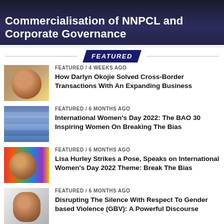Commercialisation of NNPCL and Corporate Governance
FEATURED
FEATURED / 4 weeks ago
How Darlyn Okojie Solved Cross-Border Transactions With An Expanding Business
FEATURED / 6 months ago
International Women's Day 2022: The BAO 30 Inspiring Women On Breaking The Bias
FEATURED / 6 months ago
Lisa Hurley Strikes a Pose, Speaks on International Women's Day 2022 Theme: Break The Bias
FEATURED / 6 months ago
Disrupting The Silence With Respect To Gender based Violence (GBV): A Powerful Discourse